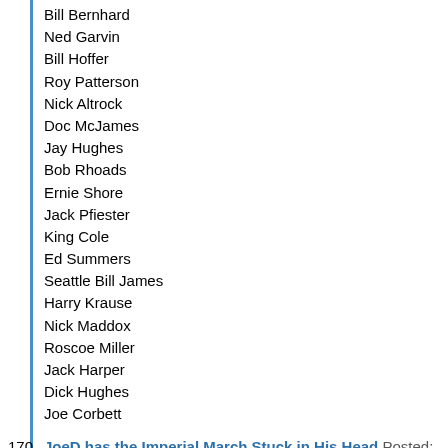Bill Bernhard
Ned Garvin
Bill Hoffer
Roy Patterson
Nick Altrock
Doc McJames
Jay Hughes
Bob Rhoads
Ernie Shore
Jack Pfiester
King Cole
Ed Summers
Seattle Bill James
Harry Krause
Nick Maddox
Roscoe Miller
Jack Harper
Dick Hughes
Joe Corbett
170. JoeD has the Imperial March Stuck in His Head Posted: August 04
BTW, the other thing I want to do once I get this going is figure ou database, it's not so easy to figure out.
Also, for the My Young Award, I only use pitching runs, hitting is n
4-time:
Al Spalding (1871-73, 1875 NA)
3-time: